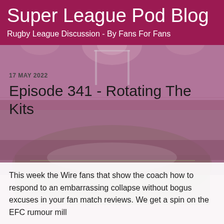[Figure (photo): Stadium background image showing a rugby league ground at night with floodlights and spectators in the stands, tinted with a reddish-purple overlay]
Super League Pod Blog
Rugby League Discussion - By Fans For Fans
17 MAY 2022
Episode 341 - Rotating The Kits
This week the Wire fans that show the coach how to respond to an embarrassing collapse without bogus excuses in your fan match reviews. We get a spin on the EFC rumour mill